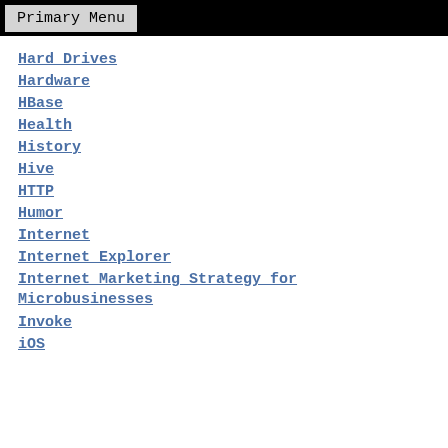Primary Menu
Hard Drives
Hardware
HBase
Health
History
Hive
HTTP
Humor
Internet
Internet Explorer
Internet Marketing Strategy for Microbusinesses
Invoke
iOS